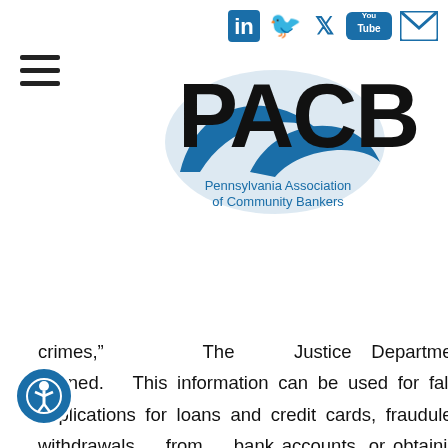[Figure (logo): PACB - Pennsylvania Association of Community Bankers logo with social media icons (LinkedIn, Twitter, YouTube, Email) and hamburger menu]
crimes,” The Justice Department warned. This information can be used for false applications for loans and credit cards, fraudulent withdrawals from bank accounts, or obtaining other goods or privileges which the individual might be denied if he were to use his real name.